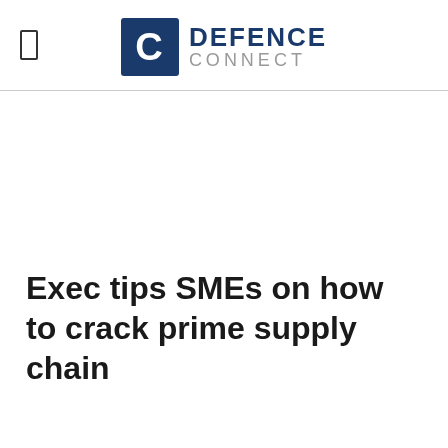DEFENCE CONNECT
Exec tips SMEs on how to crack prime supply chain